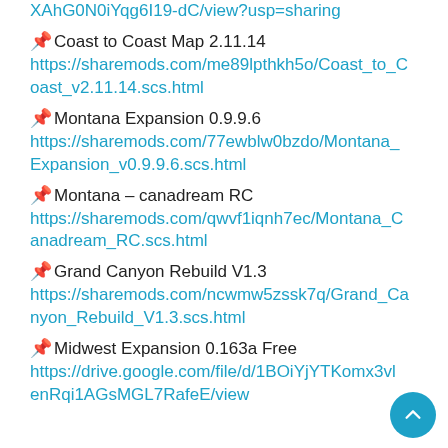XAhG0N0iYqg6I19-dC/view?usp=sharing
📌 Coast to Coast Map 2.11.14
https://sharemods.com/me89lpthkh5o/Coast_to_Coast_v2.11.14.scs.html
📌 Montana Expansion 0.9.9.6
https://sharemods.com/77ewblw0bzdo/Montana_Expansion_v0.9.9.6.scs.html
📌 Montana – canadream RC
https://sharemods.com/qwvf1iqnh7ec/Montana_Canadream_RC.scs.html
📌 Grand Canyon Rebuild V1.3
https://sharemods.com/ncwmw5zssk7q/Grand_Canyon_Rebuild_V1.3.scs.html
📌 Midwest Expansion 0.163a Free
https://drive.google.com/file/d/1BOiYjYTKomx3vl…enRqi1AGsMGL7RafeE/view